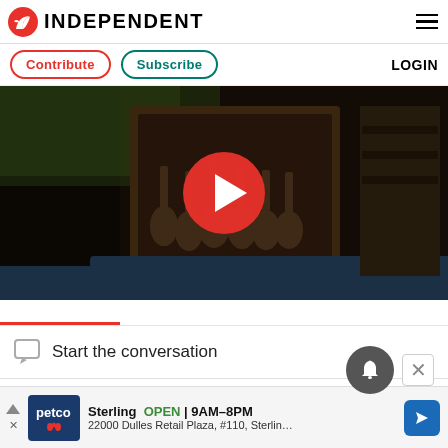INDEPENDENT
Contribute  Subscribe  LOGIN
[Figure (screenshot): Video player showing a framed picture of guitars on a tray outdoors with a red play button overlay]
Start the conversation
Sterling  OPEN | 9AM-8PM  22000 Dulles Retail Plaza, #110, Sterling